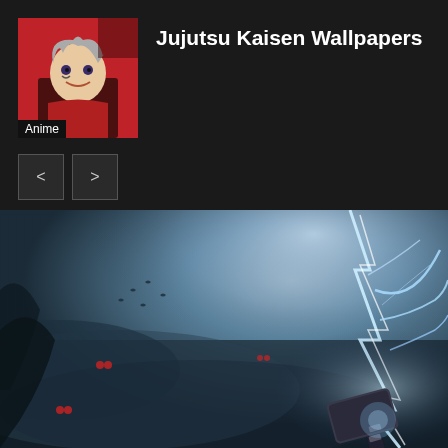Jujutsu Kaisen Wallpapers
[Figure (illustration): Anime character thumbnail with red background, gray-haired male character smiling. Badge at bottom reading 'Anime'.]
[Figure (illustration): Large wallpaper image showing a dark stormy scene with blue lightning bolts emanating from what appears to be Thor's hammer (Mjolnir) at the bottom right, dark misty background with small red glowing eyes and birds in the sky.]